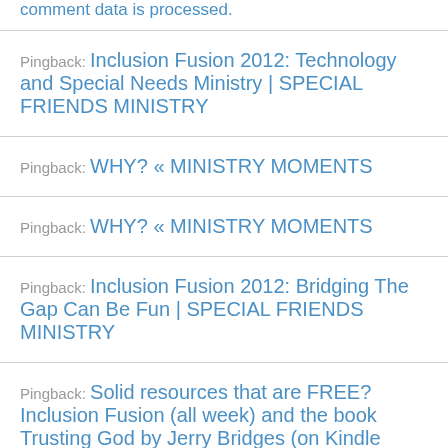comment data is processed.
Pingback: Inclusion Fusion 2012: Technology and Special Needs Ministry | SPECIAL FRIENDS MINISTRY
Pingback: WHY? « MINISTRY MOMENTS
Pingback: WHY? « MINISTRY MOMENTS
Pingback: Inclusion Fusion 2012: Bridging The Gap Can Be Fun | SPECIAL FRIENDS MINISTRY
Pingback: Solid resources that are FREE? Inclusion Fusion (all week) and the book Trusting God by Jerry Bridges (on Kindle today) | Gillian Marchenko